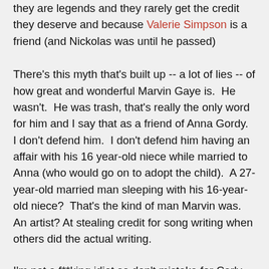they are legends and they rarely get the credit they deserve and because Valerie Simpson is a friend (and Nickolas was until he passed)
There's this myth that's built up -- a lot of lies -- of how great and wonderful Marvin Gaye is.  He wasn't.  He was trash, that's really the only word for him and I say that as a friend of Anna Gordy.  I don't defend him.  I don't defend him having an affair with his 16 year-old niece while married to Anna (who would go on to adopt the child).  A 27-year-old married man sleeping with his 16-year-old niece?  That's the kind of man Marvin was.  An artist? At stealing credit for song writing when others did the actual writing.
I'm not a f**king idiot so don't mistake for Carly Simon.  I know Carly, we're sort of friends -- she hates my opinion of Miss Emma. And she does she does hate it sid